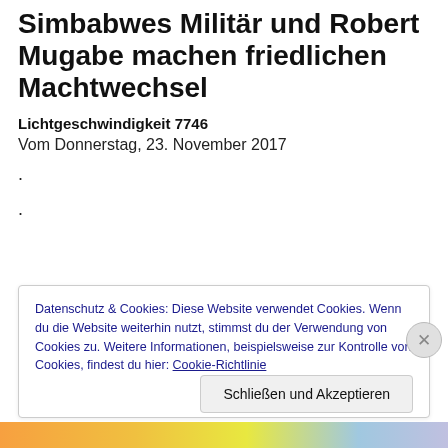Simbabwes Militär und Robert Mugabe machen friedlichen Machtwechsel
Lichtgeschwindigkeit 7746
Vom Donnerstag, 23. November 2017
.
.
Datenschutz & Cookies: Diese Website verwendet Cookies. Wenn du die Website weiterhin nutzt, stimmst du der Verwendung von Cookies zu. Weitere Informationen, beispielsweise zur Kontrolle von Cookies, findest du hier: Cookie-Richtlinie
Schließen und Akzeptieren